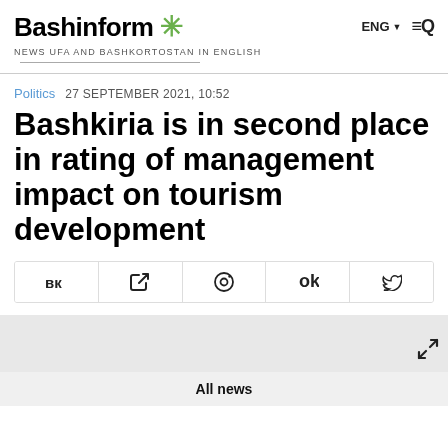Bashinform * NEWS UFA AND BASHKORTOSTAN IN ENGLISH   ENG ▼ ≡Q
Politics   27 SEPTEMBER 2021, 10:52
Bashkiria is in second place in rating of management impact on tourism development
[Figure (other): Social share buttons row: VK, Telegram, WhatsApp, Odnoklassniki, Twitter]
[Figure (photo): Article image area with expand/fullscreen icon]
All news